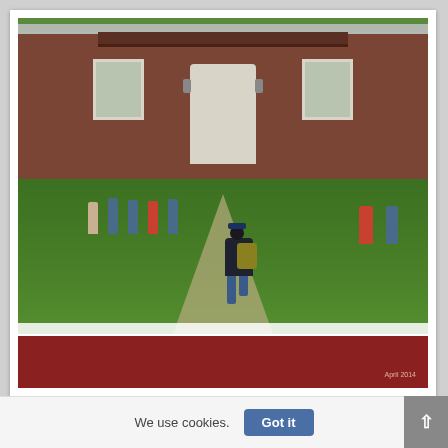[Figure (photo): Cover image of a report titled 'Getting What You Pay For? A Look at America's Top-Ranked Public Universities'. Shows a student with a yellow backpack walking toward a brick university building entrance, with other students visible in the background on a grassy campus. Below the photo is a dark red bar with the date 'April 2014'.]
Getting What You Pay For?
A Look at America's Top-Ranked Public Universities
April 2014
We use cookies.